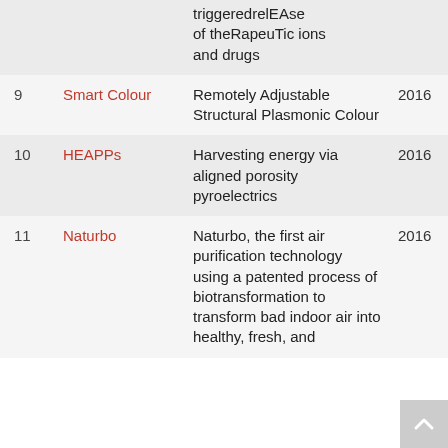| # | Name | Description | Year |
| --- | --- | --- | --- |
|  |  | triggeredrelease of theRapeuTic ions and drugs |  |
| 9 | Smart Colour | Remotely Adjustable Structural Plasmonic Colour | 2016 |
| 10 | HEAPPs | Harvesting energy via aligned porosity pyroelectrics | 2016 |
| 11 | Naturbo | Naturbo, the first air purification technology using a patented process of biotransformation to transform bad indoor air into healthy, fresh, and | 2016 |